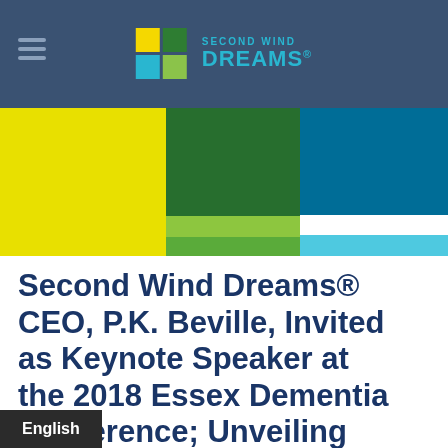Second Wind Dreams® (logo/navigation header)
[Figure (illustration): Colorful block banner with yellow, dark green, light green, dark teal, white, and sky blue rectangular sections.]
Second Wind Dreams® CEO, P.K. Beville, Invited as Keynote Speaker at the 2018 Essex Dementia Conference; Unveiling
English